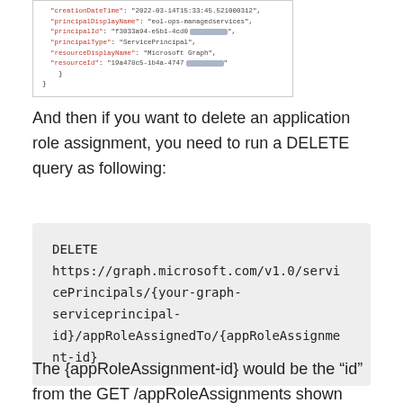[Figure (screenshot): Screenshot of JSON response snippet showing fields: creationDateTime, principalDisplayName, principalId, principalType, resourceDisplayName, resourceId with some values blurred]
And then if you want to delete an application role assignment, you need to run a DELETE query as following:
DELETE https://graph.microsoft.com/v1.0/servicePrincipals/{your-graph-serviceprincipal-id}/appRoleAssignedTo/{appRoleAssignment-id}
The {appRoleAssignment-id} would be the “id” from the GET /appRoleAssignments shown above. When run